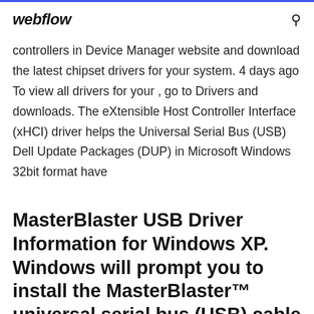webflow
controllers in Device Manager website and download the latest chipset drivers for your system. 4 days ago To view all drivers for your , go to Drivers and downloads. The eXtensible Host Controller Interface (xHCI) driver helps the Universal Serial Bus (USB) Dell Update Packages (DUP) in Microsoft Windows 32bit format have
MasterBlaster USB Driver Information for Windows XP. Windows will prompt you to install the MasterBlaster™ universal serial bus (USB) cable